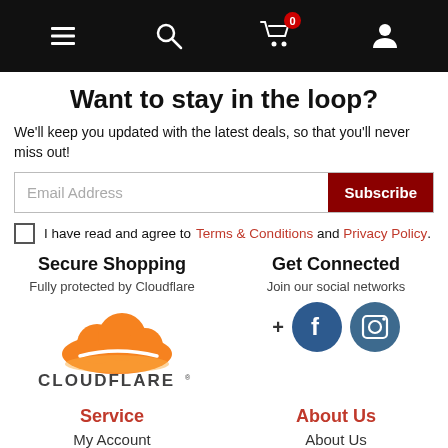Navigation bar with menu, search, cart (0), and account icons
Want to stay in the loop?
We'll keep you updated with the latest deals, so that you'll never miss out!
Email Address [input] Subscribe [button]
I have read and agree to Terms & Conditions and Privacy Policy.
Secure Shopping
Fully protected by Cloudflare
[Figure (logo): Cloudflare logo with orange cloud and CLOUDFLARE text]
Get Connected
Join our social networks
[Figure (illustration): Social media icons: + Facebook and Instagram circles]
Service
My Account
About Us
About Us